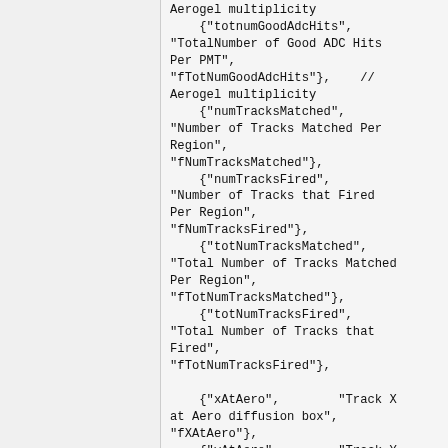Aerogel multiplicity
    {"totnumGoodAdcHits", "TotalNumber of Good ADC Hits Per PMT", "fTotNumGoodAdcHits"},    // Aerogel multiplicity
    {"numTracksMatched", "Number of Tracks Matched Per Region", "fNumTracksMatched"},
    {"numTracksFired", "Number of Tracks that Fired Per Region", "fNumTracksFired"},
    {"totNumTracksMatched", "Total Number of Tracks Matched Per Region", "fTotNumTracksMatched"},
    {"totNumTracksFired", "Total Number of Tracks that Fired", "fTotNumTracksFired"},

    {"xAtAero",        "Track X at Aero diffusion box", "fXAtAero"},
    {"yAtAero",        "Track Y at Aero diffusion box", "fYAtAero"},

    {"posNpe",     "Number of Positive PEs",